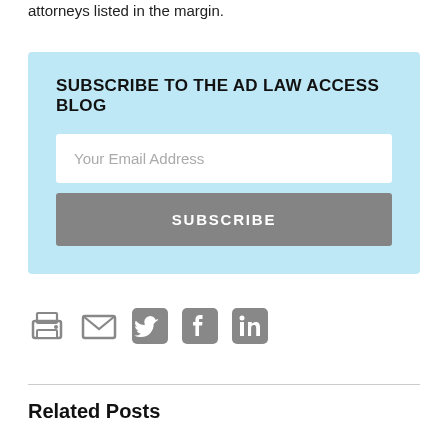attorneys listed in the margin.
SUBSCRIBE TO THE AD LAW ACCESS BLOG
Your Email Address
SUBSCRIBE
[Figure (infographic): Social sharing icons: printer, email envelope, Twitter bird, Facebook f, LinkedIn in]
Related Posts